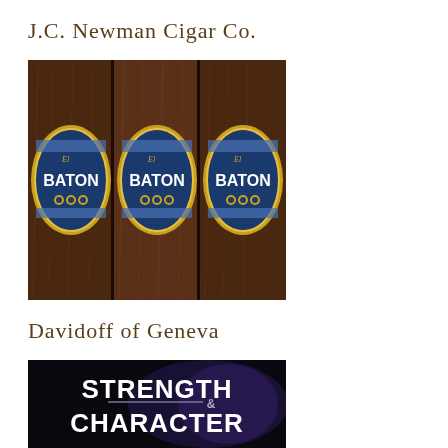J.C. Newman Cigar Co.
[Figure (photo): Three El Baton cigars side by side, showing blue and gold oval labels with 'El BATON' text and decorative gold border on dark brown tobacco wrapper]
Davidoff of Geneva
[Figure (photo): Dark background image with stylized white bold text reading 'STRENGTH & CHARACTER' with smoke/mystical effects]